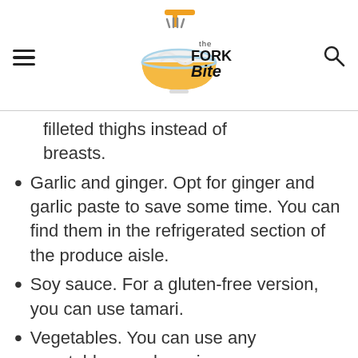the Fork Bite
filleted thighs instead of breasts.
Garlic and ginger. Opt for ginger and garlic paste to save some time. You can find them in the refrigerated section of the produce aisle.
Soy sauce. For a gluten-free version, you can use tamari.
Vegetables. You can use any vegetables you have in your